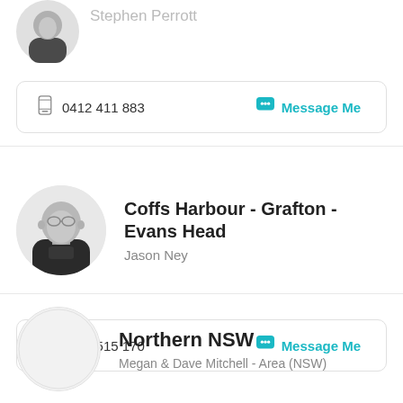[Figure (photo): Partial profile photo of Stephen Perrott (cropped at top), circular avatar, black and white]
Stephen Perrott
0412 411 883   Message Me
[Figure (photo): Circular profile photo of Jason Ney, black and white, wearing dark polo shirt]
Coffs Harbour - Grafton - Evans Head
Jason Ney
0416 515 170   Message Me
[Figure (photo): Circular profile placeholder, light grey circle, partially visible at bottom]
Northern NSW
Megan & Dave Mitchell - Area (NSW)